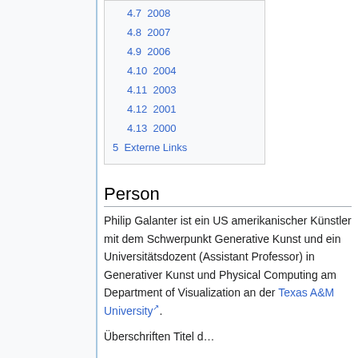4.7  2008
4.8  2007
4.9  2006
4.10  2004
4.11  2003
4.12  2001
4.13  2000
5  Externe Links
Person
Philip Galanter ist ein US amerikanischer Künstler mit dem Schwerpunkt Generative Kunst und ein Universitätsdozent (Assistant Professor) in Generativer Kunst und Physical Computing am Department of Visualization an der Texas A&M University.
Überschriften Titel d...